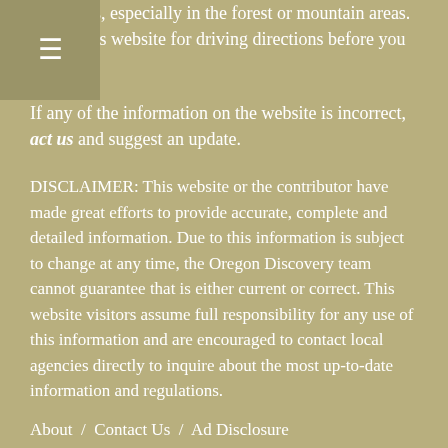directions, especially in the forest or mountain areas. Check this website for driving directions before you leave.
If any of the information on the website is incorrect, contact us and suggest an update.
DISCLAIMER: This website or the contributor have made great efforts to provide accurate, complete and detailed information. Due to this information is subject to change at any time, the Oregon Discovery team cannot guarantee that is either current or correct. This website visitors assume full responsibility for any use of this information and are encouraged to contact local agencies directly to inquire about the most up-to-date information and regulations.
About  /  Contact Us  /  Ad Disclosure